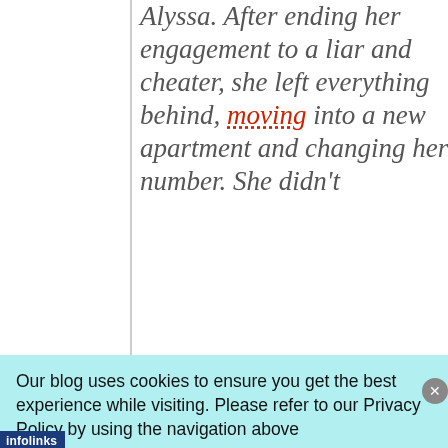Alyssa. After ending her engagement to a liar and cheater, she left everything behind, moving into a new apartment and changing her number. She didn't
Our blog uses cookies to ensure you get the best experience while visiting. Please refer to our Privacy Policy by using the navigation above
[Figure (screenshot): Victoria's Secret advertisement banner with model, VS logo, 'SHOP THE COLLECTION' text and 'SHOP NOW' button]